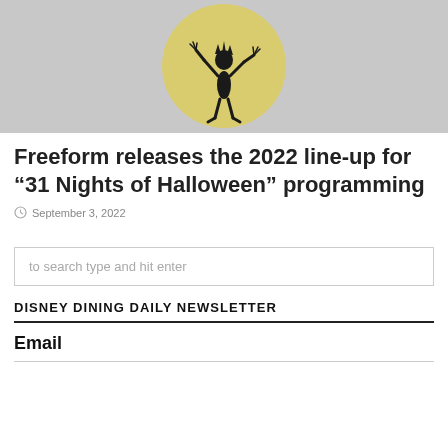[Figure (photo): A dark silhouette figure (Jack Skellington style) posed against a large yellow-green circular moon background, resembling a Halloween character.]
Freeform releases the 2022 line-up for “31 Nights of Halloween” programming
September 3, 2022
to search type and hit enter
DISNEY DINING DAILY NEWSLETTER
Email